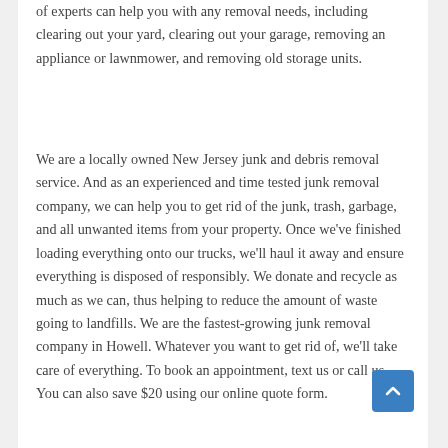of experts can help you with any removal needs, including clearing out your yard, clearing out your garage, removing an appliance or lawnmower, and removing old storage units.
We are a locally owned New Jersey junk and debris removal service. And as an experienced and time tested junk removal company, we can help you to get rid of the junk, trash, garbage, and all unwanted items from your property. Once we've finished loading everything onto our trucks, we'll haul it away and ensure everything is disposed of responsibly. We donate and recycle as much as we can, thus helping to reduce the amount of waste going to landfills. We are the fastest-growing junk removal company in Howell. Whatever you want to get rid of, we'll take care of everything. To book an appointment, text us or call us. You can also save $20 using our online quote form.